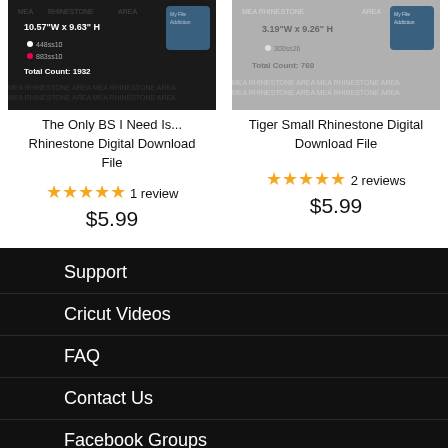[Figure (screenshot): Product image for rhinestone digital download - dark background with rhinestone pattern info showing 10.57"W x 9.63"H, counts 448ss10 and 883ss10, Total Count: 1932]
The Only BS I Need Is... Rhinestone Digital Download File
★★★★★ 1 review
$5.99
[Figure (screenshot): Product image for Tiger rhinestone digital download - grey background with rhinestone pattern info showing 3.19"W x 9.26"H, count 300ss26, Total Count: 760]
Tiger Small Rhinestone Digital Download File
★★★★★ 2 reviews
$5.99
Support
Cricut Videos
FAQ
Contact Us
Facebook Groups